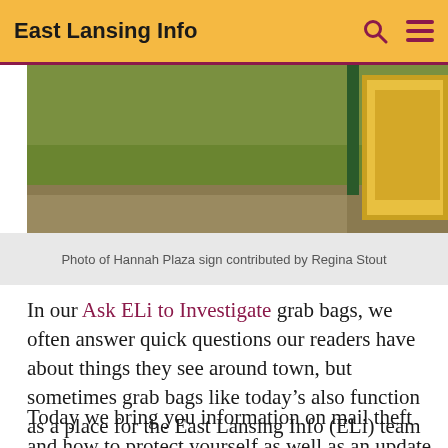East Lansing Info
[Figure (photo): Outdoor photo showing green grass and a yellow sign structure, partial view of Hannah Plaza sign]
Photo of Hannah Plaza sign contributed by Regina Stout
In our Ask ELi to Investigate grab bags, we often answer quick questions our readers have about things they see around town, but sometimes grab bags like today's also function as a place for the East Lansing Info (ELi) team to put out important public service announcements based on information we've recently learned.
Today we bring you information on mail theft and how to protect yourself as well as an update on